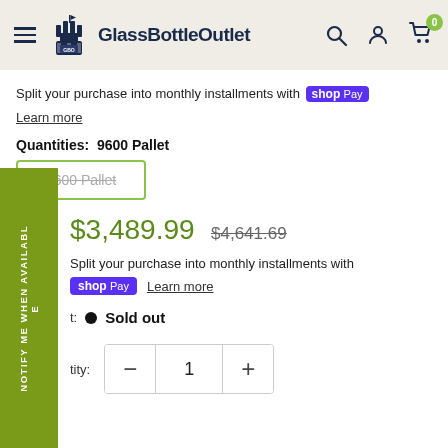GlassBottleOutlet
Split your purchase into monthly installments with shop Pay
Learn more
Quantities: 9600 Pallet
9600 Pallet
$3,489.99 $4,641.69
Split your purchase into monthly installments with shop Pay Learn more
Sold out
1
NOTIFY ME WHEN AVAILABLE